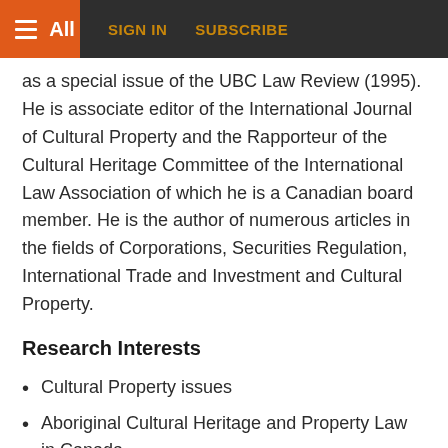All | SIGN IN | SUBSCRIBE
as a special issue of the UBC Law Review (1995). He is associate editor of the International Journal of Cultural Property and the Rapporteur of the Cultural Heritage Committee of the International Law Association of which he is a Canadian board member. He is the author of numerous articles in the fields of Corporations, Securities Regulation, International Trade and Investment and Cultural Property.
Research Interests
Cultural Property issues
Aboriginal Cultural Heritage and Property Law in Canada